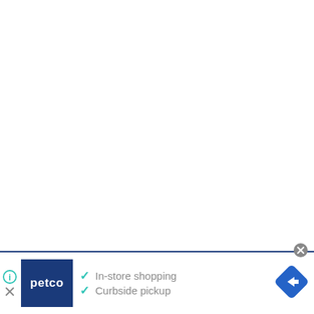[Figure (screenshot): Advertisement banner for Petco at the bottom of a mostly blank white page. Shows Petco logo in dark blue square, two checkmarks with 'In-store shopping' and 'Curbside pickup' text in gray, a blue diamond navigation icon on the right, a gray close button (X in circle) at top right, and a small info/close icon at left.]